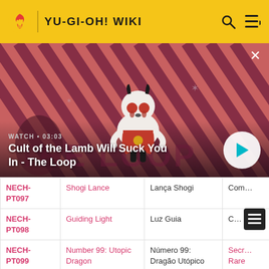YU-GI-OH! WIKI
[Figure (screenshot): Video thumbnail with red/dark striped background and cartoon lamb character. Shows 'WATCH • 03:03' label and title 'Cult of the Lamb Will Suck You In - The Loop' with a play button.]
| Code | English Name | Portuguese Name | Rarity |
| --- | --- | --- | --- |
| NECH-PT097 | Shogi Lance | Lança Shogi | Com… |
| NECH-PT098 | Guiding Light | Luz Guia | C… |
| NECH-PT099 | Number 99: Utopic Dragon | Número 99: Dragão Utópico | Secr… Rare |